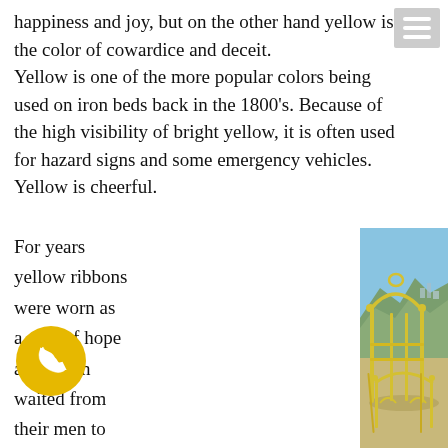happiness and joy, but on the other hand yellow is the color of cowardice and deceit. Yellow is one of the more popular colors being used on iron beds back in the 1800's. Because of the high visibility of bright yellow, it is often used for hazard signs and some emergency vehicles. Yellow is cheerful.
For years yellow ribbons were worn as a sign of hope as women waited from their men to come home from
[Figure (photo): A yellow iron bed frame photographed outdoors on a patio or terrace, with a hillside city landscape visible in the background under a blue sky.]
[Figure (other): Yellow circular call/phone button icon with a white phone handset symbol]